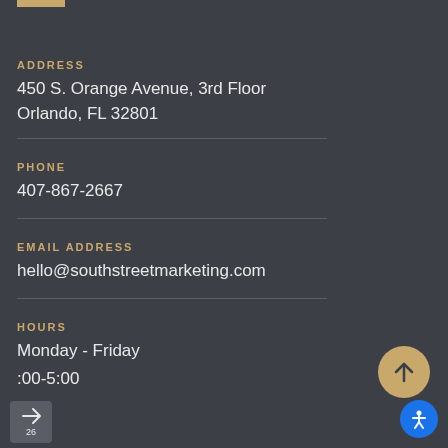ADDRESS
450 S. Orange Avenue, 3rd Floor
Orlando, FL 32801
PHONE
407-867-2667
EMAIL ADDRESS
hello@southstreetmarketing.com
HOURS
Monday - Friday
:00-5:00